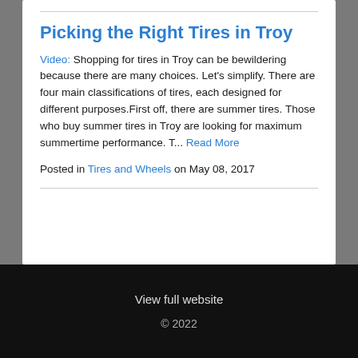Picking the Right Tires in Troy
Video: Shopping for tires in Troy can be bewildering because there are many choices. Let's simplify. There are four main classifications of tires, each designed for different purposes.First off, there are summer tires. Those who buy summer tires in Troy are looking for maximum summertime performance. T... Read More
Posted in Tires and Wheels on May 08, 2017
View full website
© 2022